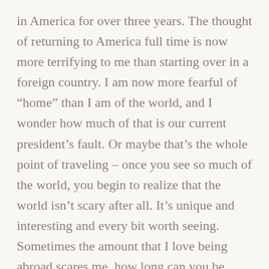in America for over three years. The thought of returning to America full time is now more terrifying to me than starting over in a foreign country. I am now more fearful of “home” than I am of the world, and I wonder how much of that is our current president’s fault. Or maybe that’s the whole point of traveling – once you see so much of the world, you begin to realize that the world isn’t scary after all. It’s unique and interesting and every bit worth seeing. Sometimes the amount that I love being abroad scares me, how long can you be away before you can’t go home again? How long before you give up on trying to figure out what ‘home’ even means?